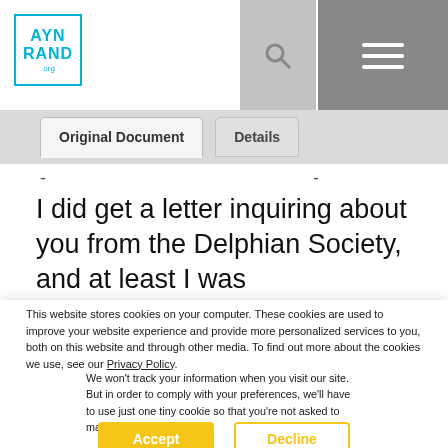AYN RAND .org
Original Document | Details
I did get a letter inquiring about you from the Delphian Society, and at least I was conscientious enough to answer it. Here is
This website stores cookies on your computer. These cookies are used to improve your website experience and provide more personalized services to you, both on this website and through other media. To find out more about the cookies we use, see our Privacy Policy.
We won't track your information when you visit our site. But in order to comply with your preferences, we'll have to use just one tiny cookie so that you're not asked to make this choice again.
Accept | Decline